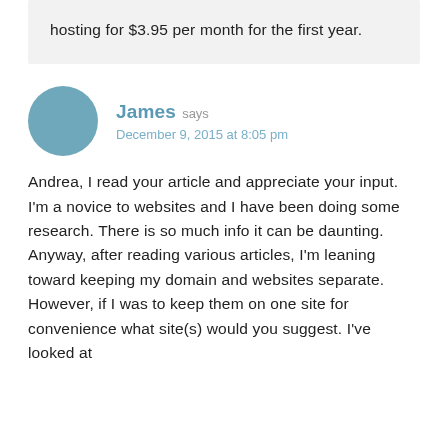hosting for $3.95 per month for the first year.
James says December 9, 2015 at 8:05 pm
Andrea, I read your article and appreciate your input. I'm a novice to websites and I have been doing some research. There is so much info it can be daunting. Anyway, after reading various articles, I'm leaning toward keeping my domain and websites separate. However, if I was to keep them on one site for convenience what site(s) would you suggest. I've looked at